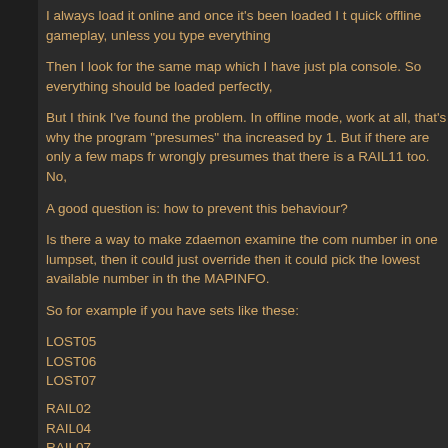I always load it online and once it's been loaded I t... quick offline gameplay, unless you type everything...
Then I look for the same map which I have just pla... console. So everything should be loaded perfectly,...
But I think I've found the problem. In offline mode,... work at all, that's why the program "presumes" tha... increased by 1. But if there are only a few maps fr... wrongly presumes that there is a RAIL11 too. No,...
A good question is: how to prevent this behaviour?
Is there a way to make zdaemon examine the com... number in one lumpset, then it could just override... then it could pick the lowest available number in th... the MAPINFO.
So for example if you have sets like these:
LOST05
LOST06
LOST07
RAIL02
RAIL04
RAIL07
INVA01
INVA03
INVA04